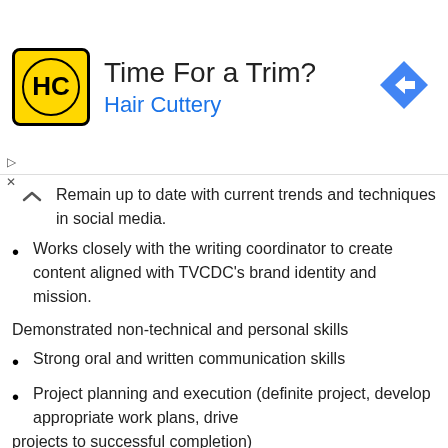[Figure (advertisement): Hair Cuttery ad banner with yellow logo, 'Time For a Trim?' headline, 'Hair Cuttery' subtitle in blue, and a blue diamond direction arrow on the right]
Remain up to date with current trends and techniques in social media.
Works closely with the writing coordinator to create content aligned with TVCDC's brand identity and mission.
Demonstrated non-technical and personal skills
Strong oral and written communication skills
Project planning and execution (definite project, develop appropriate work plans, drive
projects to successful completion)
Team building and long-term commitment